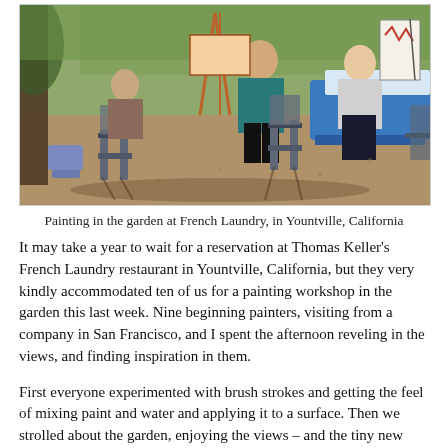[Figure (photo): Outdoor painting workshop scene in a garden. People sitting on folding chairs around tables with painting supplies, under tree shade on a sunny day. A woman in a white top is painting on a canvas on an easel. Mulch-covered ground, green grass and trees in background.]
Painting in the garden at French Laundry, in Yountville, California
It may take a year to wait for a reservation at Thomas Keller's French Laundry restaurant in Yountville, California, but they very kindly accommodated ten of us for a painting workshop in the garden this last week. Nine beginning painters, visiting from a company in San Francisco, and I spent the afternoon reveling in the views, and finding inspiration in them.
First everyone experimented with brush strokes and getting the feel of mixing paint and water and applying it to a surface. Then we strolled about the garden, enjoying the views – and the tiny new baby quail hiding in a bed of beets. Next, with some initial direction,